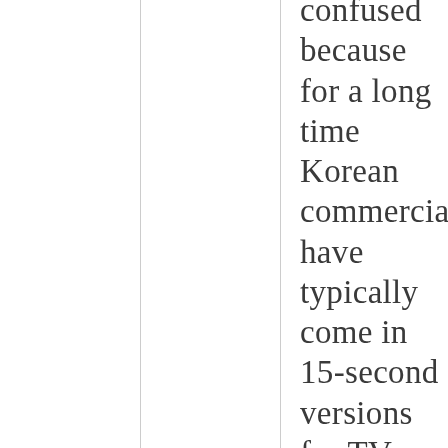confused because for a long time Korean commercials have typically come in 15-second versions for TV, and 30-second ones for online